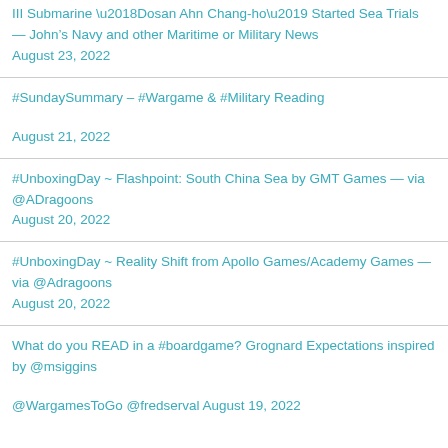III Submarine ‘Dosan Ahn Chang-ho’ Started Sea Trials — John’s Navy and other Maritime or Military News August 23, 2022
#SundaySummary – #Wargame & #Military Reading August 21, 2022
#UnboxingDay ~ Flashpoint: South China Sea by GMT Games — via @ADragoons August 20, 2022
#UnboxingDay ~ Reality Shift from Apollo Games/Academy Games — via @Adragoons August 20, 2022
What do you READ in a #boardgame? Grognard Expectations inspired by @msiggins @WargamesToGo @fredserval August 19, 2022